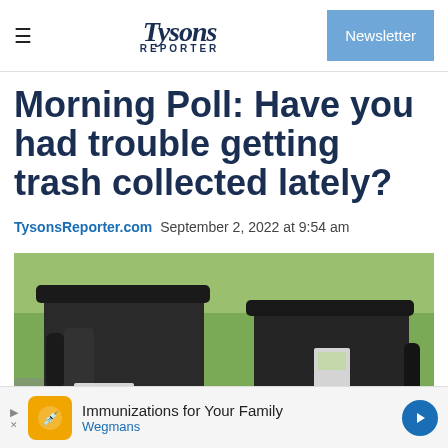Tysons Reporter | Newsletter
Morning Poll: Have you had trouble getting trash collected lately?
TysonsReporter.com  September 2, 2022 at 9:54 am
[Figure (photo): Two large black plastic trash/recycling bins sitting on a green lawn outdoors]
Immunizations for Your Family Wegmans